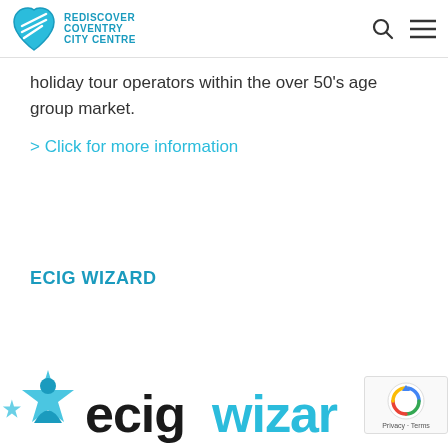REDISCOVER COVENTRY CITY CENTRE
holiday tour operators within the over 50's age group market.
> Click for more information
ECIG WIZARD
[Figure (logo): Ecig Wizard logo — stylized star with blue figure and 'ecigwizard' text in dark and blue lettering]